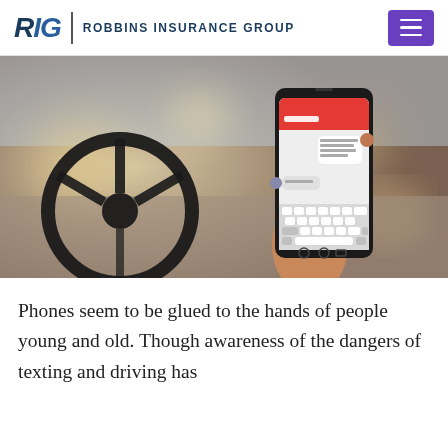RIG | ROBBINS INSURANCE GROUP
[Figure (photo): Person sitting in a car holding a smartphone with a messaging/texting app open on the screen, with a steering wheel visible in the foreground and a blurred road in the background.]
Phones seem to be glued to the hands of people young and old. Though awareness of the dangers of texting and driving has